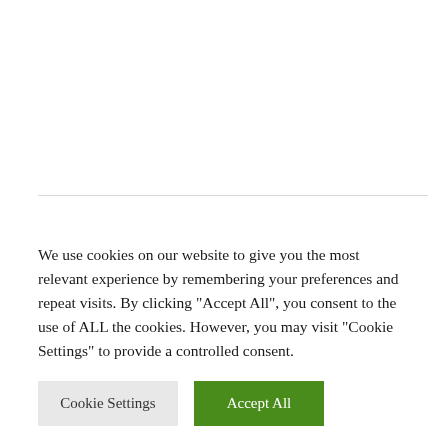Recent Posts
Road Trip Calgary To Vancouver
We use cookies on our website to give you the most relevant experience by remembering your preferences and repeat visits. By clicking "Accept All", you consent to the use of ALL the cookies. However, you may visit "Cookie Settings" to provide a controlled consent.